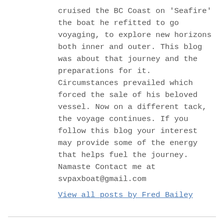cruised the BC Coast on 'Seafire' the boat he refitted to go voyaging, to explore new horizons both inner and outer. This blog was about that journey and the preparations for it. Circumstances prevailed which forced the sale of his beloved vessel. Now on a different tack, the voyage continues. If you follow this blog your interest may provide some of the energy that helps fuel the journey. Namaste Contact me at svpaxboat@gmail.com
View all posts by Fred Bailey